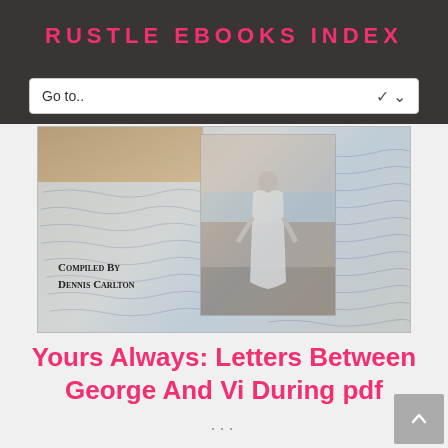RUSTLE EBOOKS INDEX
Go to..
[Figure (photo): Book cover for 'Yours Always: Letters Between George and Vi During' compiled by Dennis Carlton. The cover shows handwritten letter pages as background with a sepia-toned vintage photograph of a woman in a white dress standing at the beach, and a brown envelope in the upper left corner. Text on cover reads 'Compiled By Dennis Carlton'.]
Yours Always: Letters Between George And Vi During pdf
...